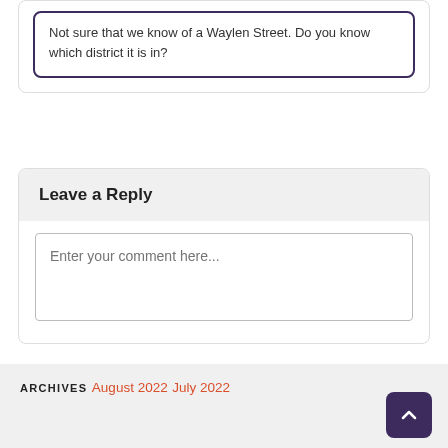Not sure that we know of a Waylen Street. Do you know which district it is in?
Leave a Reply
Enter your comment here...
ARCHIVES
August 2022
July 2022